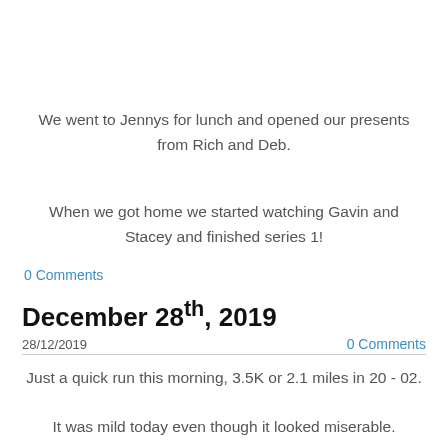We went to Jennys for lunch and opened our presents from Rich and Deb.
When we got home we started watching Gavin and Stacey and finished series 1!
0 Comments
December 28th, 2019
28/12/2019
0 Comments
Just a quick run this morning, 3.5K or 2.1 miles in 20 - 02.
It was mild today even though it looked miserable.